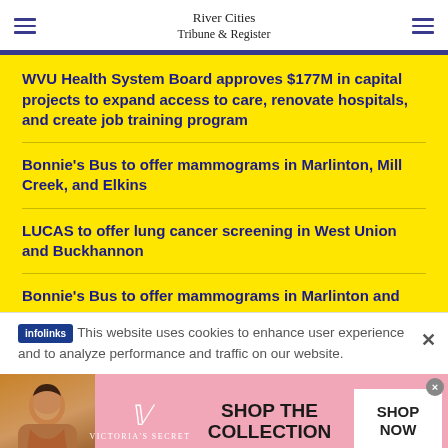River Cities Tribune & Register
WVU Health System Board approves $177M in capital projects to expand access to care, renovate hospitals, and create job training program
Bonnie's Bus to offer mammograms in Marlinton, Mill Creek, and Elkins
LUCAS to offer lung cancer screening in West Union and Buckhannon
Bonnie's Bus to offer mammograms in Marlinton and
This website uses cookies to enhance user experience and to analyze performance and traffic on our website.
[Figure (photo): Victoria's Secret advertisement banner featuring a model and the text SHOP THE COLLECTION with a SHOP NOW button]